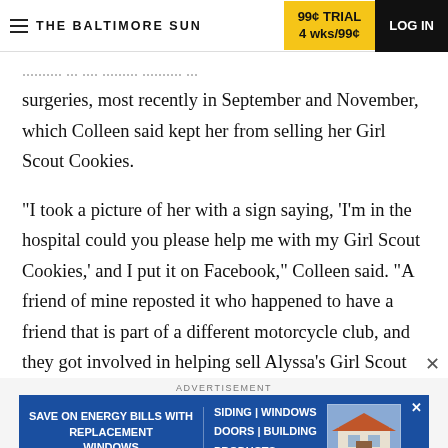THE BALTIMORE SUN | 99¢ TRIAL 4 wks/99¢ | LOG IN
surgeries, most recently in September and November, which Colleen said kept her from selling her Girl Scout Cookies.
"I took a picture of her with a sign saying, 'I'm in the hospital could you please help me with my Girl Scout Cookies,' and I put it on Facebook," Colleen said. "A friend of mine reposted it who happened to have a friend that is part of a different motorcycle club, and they got involved in helping sell Alyssa's Girl Scout
ADVERTISEMENT
[Figure (screenshot): Advertisement banner: Save on energy bills with replacement windows. Siding, windows, doors, building products.]